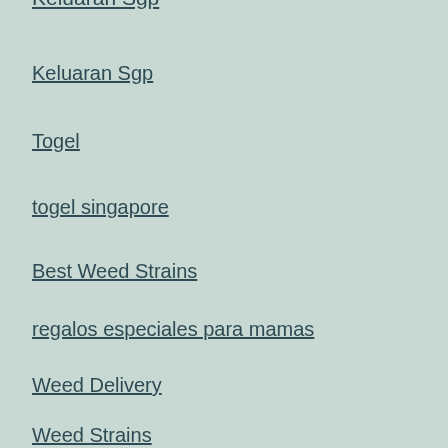Keluaran Sgp
Keluaran Sgp
Togel
togel singapore
Best Weed Strains
regalos especiales para mamas
Weed Delivery
Weed Strains
ps5 for sale